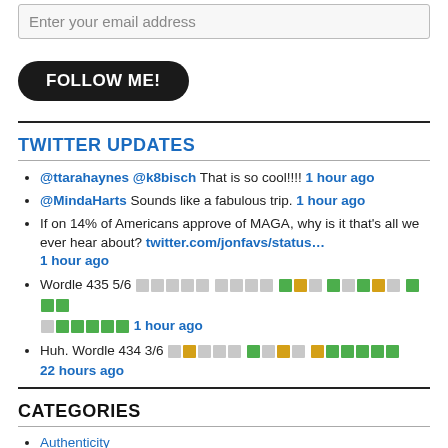Enter your email address
FOLLOW ME!
TWITTER UPDATES
@ttarahaynes @k8bisch That is so cool!!!! 1 hour ago
@MindaHarts Sounds like a fabulous trip. 1 hour ago
If on 14% of Americans approve of MAGA, why is it that's all we ever hear about? twitter.com/jonfavs/status… 1 hour ago
Wordle 435 5/6 [colored squares] 1 hour ago
Huh. Wordle 434 3/6 [colored squares] 22 hours ago
CATEGORIES
Authenticity
Clarity